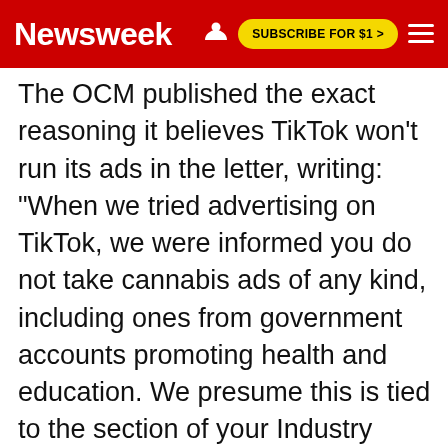Newsweek | SUBSCRIBE FOR $1 >
The OCM published the exact reasoning it believes TikTok won't run its ads in the letter, writing: "When we tried advertising on TikTok, we were informed you do not take cannabis ads of any kind, including ones from government accounts promoting health and education. We presume this is tied to the section of your Industry Entry Advertising Policy restricting 'depiction or featuring of drug-related works, symbols or images' but we know our colleagues at the New York State